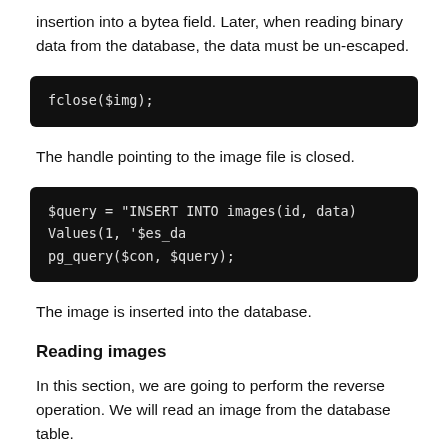insertion into a bytea field. Later, when reading binary data from the database, the data must be un-escaped.
[Figure (screenshot): Code block with dark background showing: fclose($img);]
The handle pointing to the image file is closed.
[Figure (screenshot): Code block with dark background showing: $query = "INSERT INTO images(id, data) Values(1, '$es_da
pg_query($con, $query);]
The image is inserted into the database.
Reading images
In this section, we are going to perform the reverse operation. We will read an image from the database table.
[Figure (screenshot): Code block with dark background showing: <?php]